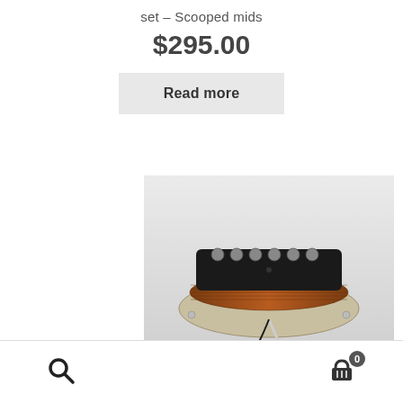set – Scooped mids
$295.00
Read more
[Figure (photo): A guitar single-coil pickup with black plastic cover showing 6 pole pieces, with copper wire coil visible and a cream/aged pickup base plate, photographed against a light grey gradient background.]
Search icon and cart icon with badge showing 0